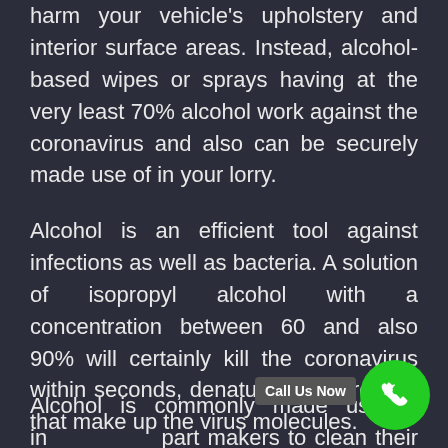harm your vehicle's upholstery and interior surface areas. Instead, alcohol-based wipes or sprays having at the very least 70% alcohol work against the coronavirus and also can be securely made use of in your lorry.
Alcohol is an efficient tool against infections as well as bacteria. A solution of isopropyl alcohol with a concentration between 60 and also 90% will certainly kill the coronavirus within seconds, denaturing the proteins that make up the virus molecules.
Alcohol is commonly made use of in part makers to clean their products, as well as it